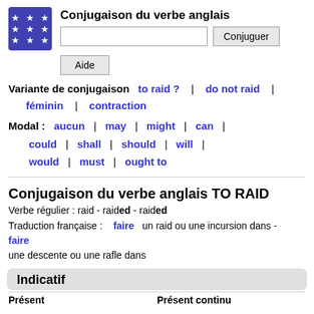[Figure (logo): Blue/purple square logo with white stars arranged in a grid pattern]
Conjugaison du verbe anglais
Variante de conjugaison   to raid ?  |  do not raid  |  féminin  |  contraction
Modal :  aucun  |  may  |  might  |  can  |  could  |  shall  |  should  |  will  |  would  |  must  |  ought to
Conjugaison du verbe anglais TO RAID
Verbe régulier : raid - raided - raided
Traduction française :  faire  un raid ou une incursion dans -  faire une descente ou une rafle dans
Indicatif
Présent   Présent continu